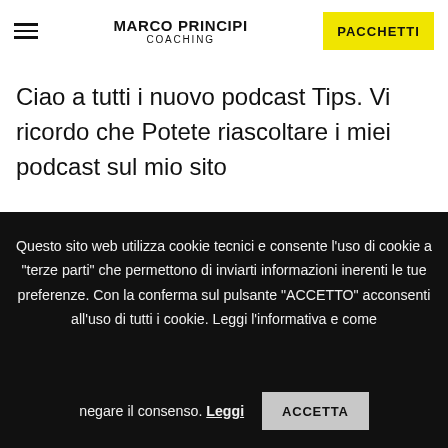MARCO PRINCIPI COACHING | PACCHETTI
Ciao a tutti i nuovo podcast Tips. Vi ricordo che Potete riascoltare i miei podcast sul mio sito
Questo sito web utilizza cookie tecnici e consente l'uso di cookie a "terze parti" che permettono di inviarti informazioni inerenti le tue preferenze. Con la conferma sul pulsante "ACCETTO" acconsenti all'uso di tutti i cookie. Leggi l'informativa e come negare il consenso. Leggi | ACCETTA